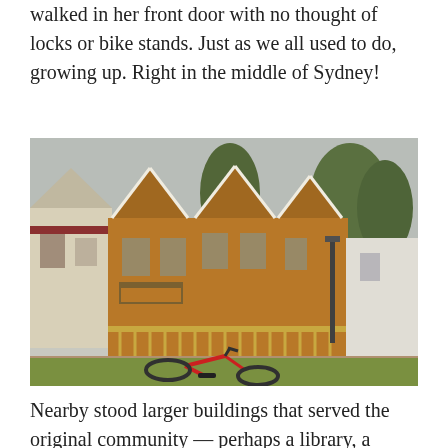walked in her front door with no thought of locks or bike stands. Just as we all used to do, growing up. Right in the middle of Sydney!
[Figure (photo): Photograph of Victorian-era terrace houses with ornate gabled rooflines painted golden-brown, set along a pedestrian street with large trees. A red bicycle lies on the grass in the foreground.]
Nearby stood larger buildings that served the original community — perhaps a library, a school, a church. What the building below was or now is remains a mystery, but it's fairly typical of the small Victorian public